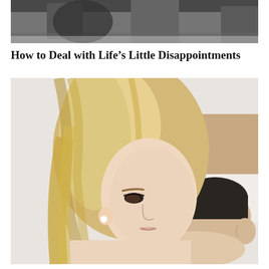[Figure (photo): Top portion of a photo showing a dark background with partial view of clothing/scene, cropped at top of page]
How to Deal with Life’s Little Disappointments
[Figure (photo): A young blonde woman with long hair looking downward with a sad or disappointed expression, wearing no visible top (bare shoulder). In the background, a man with dark hair is lying down. They appear to be on a bed. The scene suggests relationship tension or disappointment.]